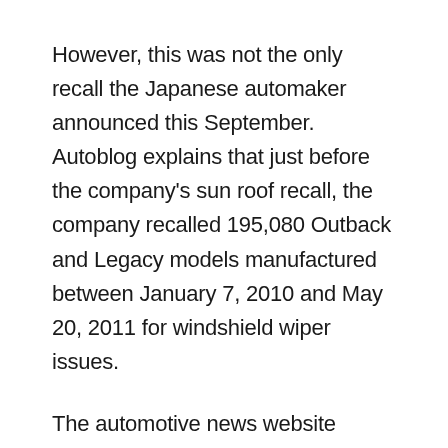However, this was not the only recall the Japanese automaker announced this September. Autoblog explains that just before the company's sun roof recall, the company recalled 195,080 Outback and Legacy models manufactured between January 7, 2010 and May 20, 2011 for windshield wiper issues.
The automotive news website explains that this recall was initiated because “faulty components inside the wiper motor’s bottom cover could overheat.” The recall report goes on to explain that if the bottom